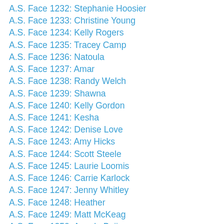A.S. Face 1232: Stephanie Hoosier
A.S. Face 1233: Christine Young
A.S. Face 1234: Kelly Rogers
A.S. Face 1235: Tracey Camp
A.S. Face 1236: Natoula
A.S. Face 1237: Amar
A.S. Face 1238: Randy Welch
A.S. Face 1239: Shawna
A.S. Face 1240: Kelly Gordon
A.S. Face 1241: Kesha
A.S. Face 1242: Denise Love
A.S. Face 1243: Amy Hicks
A.S. Face 1244: Scott Steele
A.S. Face 1245: Laurie Loomis
A.S. Face 1246: Carrie Karlock
A.S. Face 1247: Jenny Whitley
A.S. Face 1248: Heather
A.S. Face 1249: Matt McKeag
A.S. Face 1250: Angela Bajin
A.S. Face 1251: Tiffany